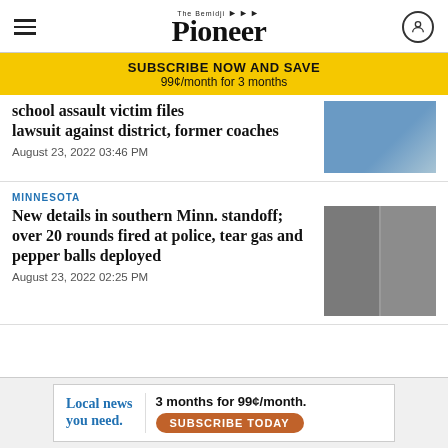The Bemidji Pioneer
SUBSCRIBE NOW AND SAVE
99¢/month for 3 months
school assault victim files lawsuit against district, former coaches
August 23, 2022 03:46 PM
MINNESOTA
New details in southern Minn. standoff; over 20 rounds fired at police, tear gas and pepper balls deployed
August 23, 2022 02:25 PM
[Figure (photo): Advertisement banner: Local news you need. 3 months for 99¢/month. Subscribe Today.]